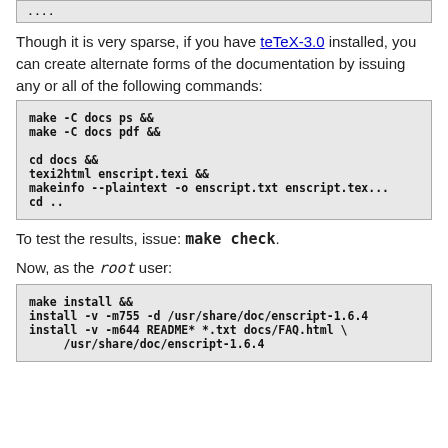[Figure (screenshot): Top portion of a code box showing '....' text, cut off at top of page]
Though it is very sparse, if you have teTeX-3.0 installed, you can create alternate forms of the documentation by issuing any or all of the following commands:
[Figure (screenshot): Code block showing: make -C docs ps &&
make -C docs pdf &&

cd docs &&
texi2html enscript.texi &&
makeinfo --plaintext -o enscript.txt enscript.tex...
cd ..]
To test the results, issue: make check.
Now, as the root user:
[Figure (screenshot): Code block showing: make install &&
install -v -m755 -d /usr/share/doc/enscript-1.6.4...
install -v -m644 README* *.txt docs/FAQ.html \
     /usr/share/doc/enscript-1.6.4]